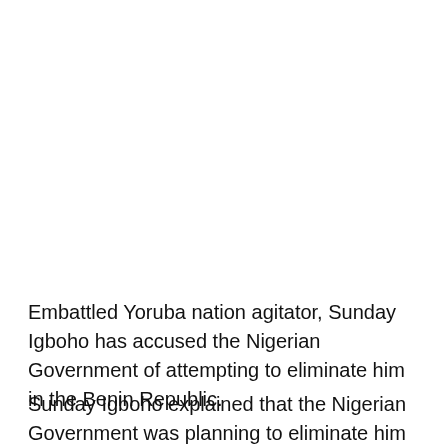Embattled Yoruba nation agitator, Sunday Igboho has accused the Nigerian Government of attempting to eliminate him in the Benin Republic.
Sunday Igboho explained that the Nigerian Government was planning to eliminate him to silence the Yoruba